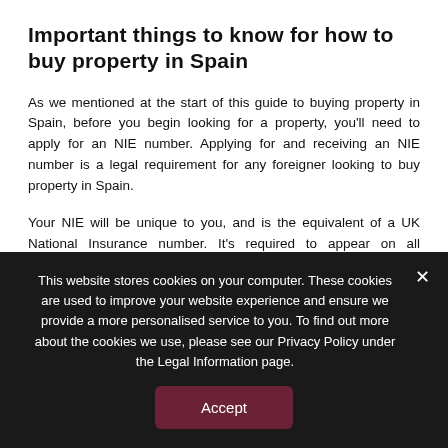Important things to know for how to buy property in Spain
As we mentioned at the start of this guide to buying property in Spain, before you begin looking for a property, you'll need to apply for an NIE number. Applying for and receiving an NIE number is a legal requirement for any foreigner looking to buy property in Spain.
Your NIE will be unique to you, and is the equivalent of a UK National Insurance number. It's required to appear on all documents that you sign or are issued.
This website stores cookies on your computer. These cookies are used to improve your website experience and ensure we provide a more personalised service to you. To find out more about the cookies we use, please see our Privacy Policy under the Legal Information page.